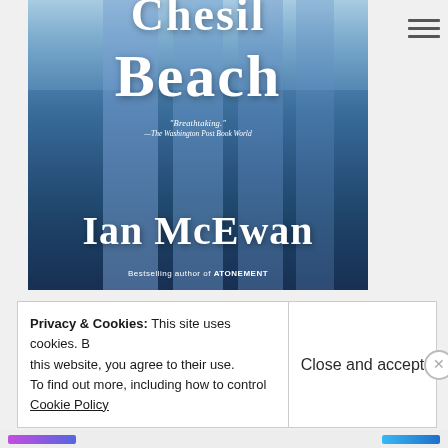[Figure (photo): Book cover of 'On Chesil Beach' by Ian McEwan showing blue curtains/drapery against a coastal sky background. White serif title text reads 'Beach' (partial, top cut off). Blurb: 'Breathtaking.' — The Washington Post Book World. Author name 'Ian McEwan' in large white serif font. 'Bestselling author of ATONEMENT' below.]
Privacy & Cookies: This site uses cookies. By continuing to use this website, you agree to their use. To find out more, including how to control cookies, see here: Cookie Policy
Close and accept